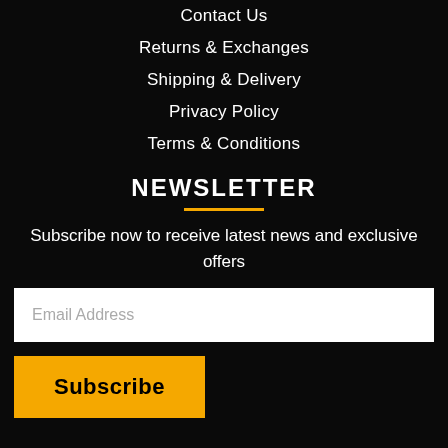Contact Us
Returns & Exchanges
Shipping & Delivery
Privacy Policy
Terms & Conditions
NEWSLETTER
Subscribe now to receive latest news and exclusive offers
Email Address
Subscribe